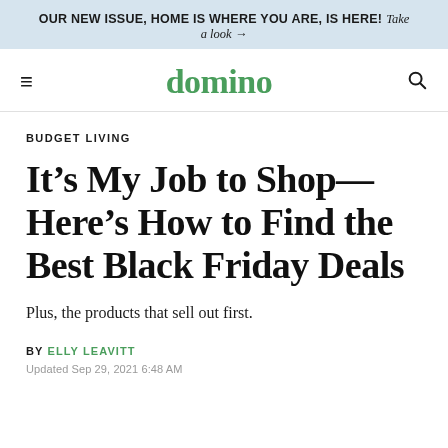OUR NEW ISSUE, HOME IS WHERE YOU ARE, IS HERE! Take a look →
[Figure (logo): Domino magazine logo and navigation bar with hamburger menu and search icon]
BUDGET LIVING
It's My Job to Shop—Here's How to Find the Best Black Friday Deals
Plus, the products that sell out first.
BY ELLY LEAVITT
Updated Sep 29, 2021 6:48 AM